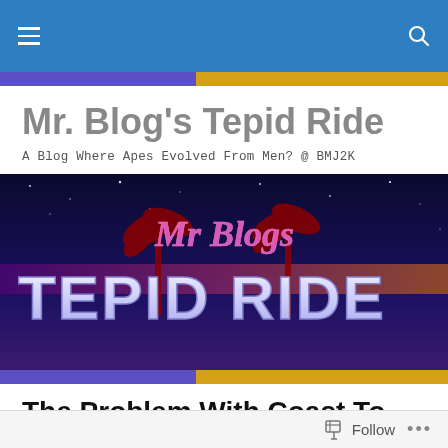Mr. Blog's Tepid Ride — navigation bar
Mr. Blog's Tepid Ride
A Blog Where Apes Evolved From Men? @ BMJ2K
[Figure (illustration): Banner image for 'Mr. Blog's Tepid Ride' with stylized retro text on a space/night sky background with palm trees. Text reads 'Mr Blogs TEPID RIDE' in large neon/chrome lettering.]
The Problem With Coast To Coast AM and George Noory
June 30, 2016